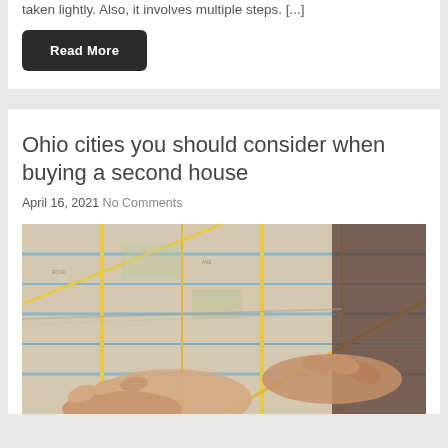taken lightly. Also, it involves multiple steps. [...]
Read More
Ohio cities you should consider when buying a second house
April 16, 2021 No Comments
[Figure (photo): Person holding and reading a paper map, close-up view of hands and colorful map]